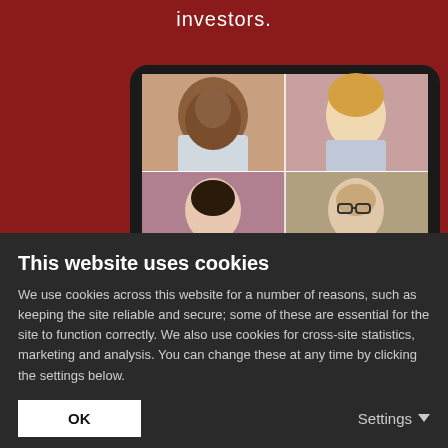investors.
[Figure (photo): A tablet device showing a video call with four participants — a Black man smiling, a blonde woman smiling, an Asian woman, and a man with glasses — displayed on a dark-bezel tablet against a dark red background.]
This website uses cookies
We use cookies across this website for a number of reasons, such as keeping the site reliable and secure; some of these are essential for the site to function correctly. We also use cookies for cross-site statistics, marketing and analysis. You can change these at any time by clicking the settings below.
OK
Settings